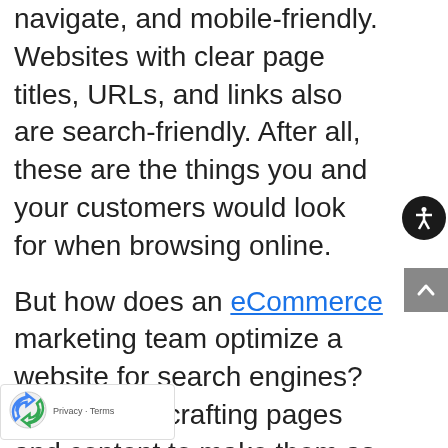navigate, and mobile-friendly. Websites with clear page titles, URLs, and links also are search-friendly. After all, these are the things you and your customers would look for when browsing online.
But how does an eCommerce marketing team optimize a website for search engines? By carefully crafting pages and content to make them as readable and valuable as they can be for your site visitors. Here's a great place for your team to start: